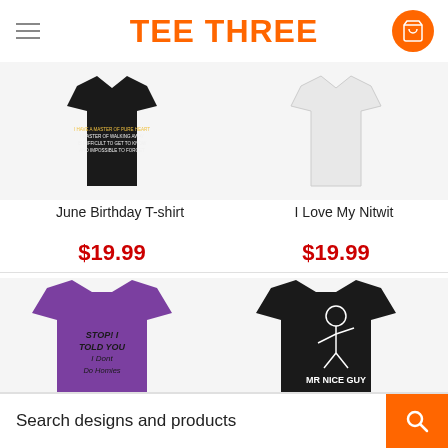TEE THREE
[Figure (photo): Black t-shirt with gold/white text print - June Birthday T-shirt]
[Figure (photo): White t-shirt - I Love My Nitwit]
June Birthday T-shirt
I Love My Nitwit
$19.99
$19.99
[Figure (photo): Purple t-shirt with text STOP! I TOLD YOU I Dont Do Homies]
[Figure (photo): Black t-shirt with MR NICE GUY graphic illustration]
Search designs and products